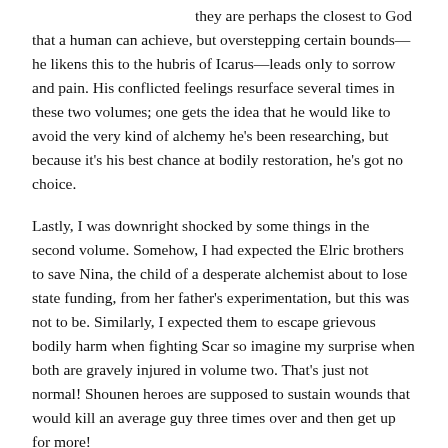they are perhaps the closest to God that a human can achieve, but overstepping certain bounds—he likens this to the hubris of Icarus—leads only to sorrow and pain. His conflicted feelings resurface several times in these two volumes; one gets the idea that he would like to avoid the very kind of alchemy he's been researching, but because it's his best chance at bodily restoration, he's got no choice.
Lastly, I was downright shocked by some things in the second volume. Somehow, I had expected the Elric brothers to save Nina, the child of a desperate alchemist about to lose state funding, from her father's experimentation, but this was not to be. Similarly, I expected them to escape grievous bodily harm when fighting Scar so imagine my surprise when both are gravely injured in volume two. That's just not normal! Shounen heroes are supposed to sustain wounds that would kill an average guy three times over and then get up for more!